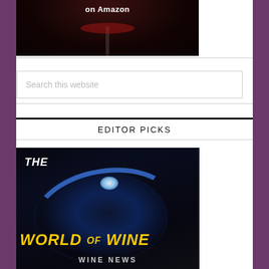[Figure (photo): Wine glass with red wine on dark background with text 'on Amazon']
Search this website
EDITOR PICKS
[Figure (photo): The World of Wine book/magazine cover with globe image, yellow text 'WORLD OF WINE' and 'WINE NEWS' subtitle on dark space background]